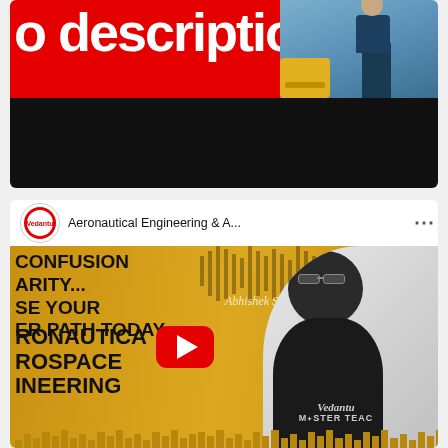[Figure (screenshot): Top portion of a video card showing partial text 'o description' in white on red background, with a photo of a person near an aircraft/industrial equipment on the right, and a black bar below.]
[Figure (screenshot): YouTube video thumbnail card for 'Aeronautical Engineering & A...' from Vedantu channel. The thumbnail shows bold text: CONFUSION, ARITY..., SE YOUR, ER PATH TODAY..., RONAUTICA, ROSPACE, INEERING on a golden/yellow background. A person (Abhishek Sir) appears on the right in black and white. A YouTube play button is in the center. Small bar chart decorations at the bottom.]